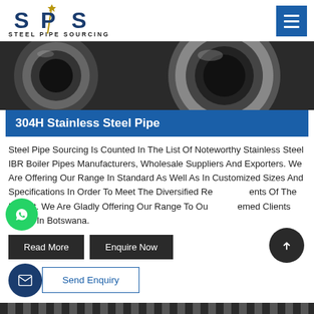Steel Pipe Sourcing
[Figure (photo): Close-up photo of dark grey/black steel pipes shown from the end, showing circular cross-sections.]
304H Stainless Steel Pipe
Steel Pipe Sourcing Is Counted In The List Of Noteworthy Stainless Steel IBR Boiler Pipes Manufacturers, Wholesale Suppliers And Exporters. We Are Offering Our Range In Standard As Well As In Customized Sizes And Specifications In Order To Meet The Diversified Requirements Of The Market. We Are Gladly Offering Our Range To Our Esteemed Clients Based In Botswana.